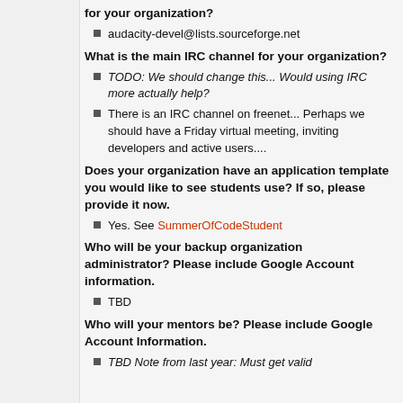for your organization?
audacity-devel@lists.sourceforge.net
What is the main IRC channel for your organization?
TODO: We should change this... Would using IRC more actually help?
There is an IRC channel on freenet... Perhaps we should have a Friday virtual meeting, inviting developers and active users....
Does your organization have an application template you would like to see students use? If so, please provide it now.
Yes. See SummerOfCodeStudent
Who will be your backup organization administrator? Please include Google Account information.
TBD
Who will your mentors be? Please include Google Account Information.
TBD Note from last year: Must get valid